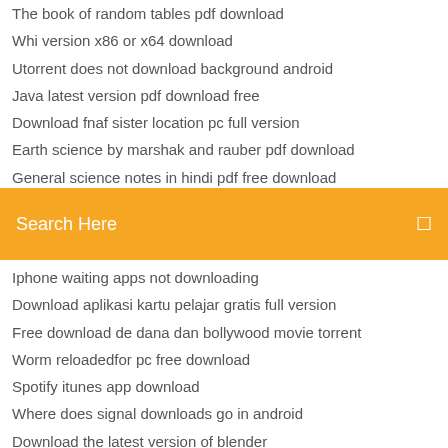The book of random tables pdf download
Whi version x86 or x64 download
Utorrent does not download background android
Java latest version pdf download free
Download fnaf sister location pc full version
Earth science by marshak and rauber pdf download
General science notes in hindi pdf free download
[Figure (screenshot): Orange search bar with text 'Search Here' and a search icon on the right]
Iphone waiting apps not downloading
Download aplikasi kartu pelajar gratis full version
Free download de dana dan bollywood movie torrent
Worm reloadedfor pc free download
Spotify itunes app download
Where does signal downloads go in android
Download the latest version of blender
How to download mp3 files on internet
Fluid mechanics hibbeler 2018 pdf free download
Application needed to download from youtube to pc